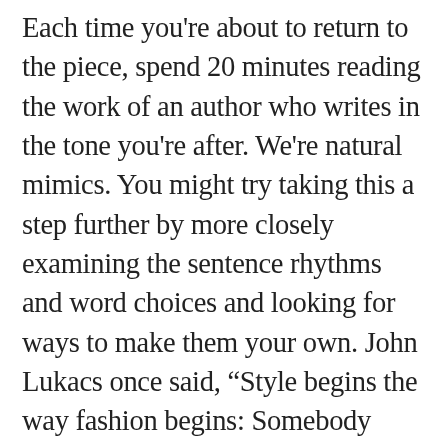Each time you're about to return to the piece, spend 20 minutes reading the work of an author who writes in the tone you're after. We're natural mimics. You might try taking this a step further by more closely examining the sentence rhythms and word choices and looking for ways to make them your own. John Lukacs once said, “Style begins the way fashion begins: Somebody admires how the other man dresses and adapts it for himself.”